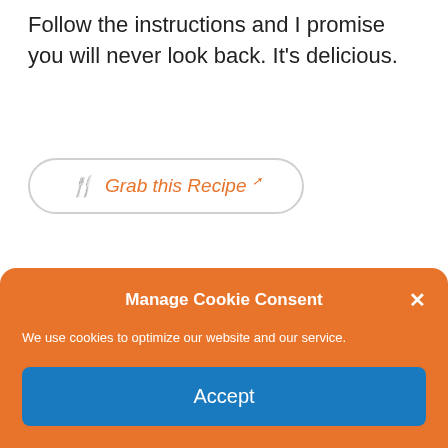Follow the instructions and I promise you will never look back. It's delicious.
[Figure (other): Button with fork/knife icon and italic text 'Grab this Recipe' with external link icon, rounded border in light gray, orange text]
6.3  Ranch Dressing
Manage Cookie Consent
We use cookies to optimize our website and our service.
Accept